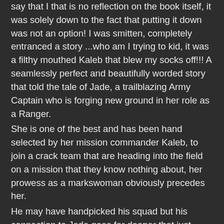say that I that is no reflection on the book itself, it was solely down to the fact that putting it down was not an option! I was smitten, completely entranced a story ...who am I trying to kid, it was a filthy mouthed Kaleb that blew my socks off!!! A seamlessly perfect and beautifully worded story that told the tale of Jade, a trailblazing Army Captain who is forging new ground in her role as a Ranger. She is one of the best and has been hand selected by her mission commander Kaleb, to join a crack team that are heading into the field on a mission that they know nothing about, her prowess as a markswoman obviously precedes her. He may have handpicked his squad but his connection to Jade goes far deeper that just another Ranger, when they are alone, he has the ability to completely blow her mind with his words alone, he encourages emotions from her that she finds difficult to not only understand but to also communicate. Their lives were ones that depended on trust